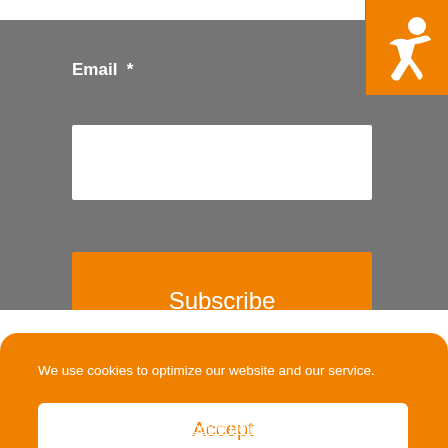[Figure (logo): Orange box with white person/accessibility icon in top-right corner]
Email  *
Subscribe
We use cookies to optimize our website and our service.
Accept
Cookie Policy